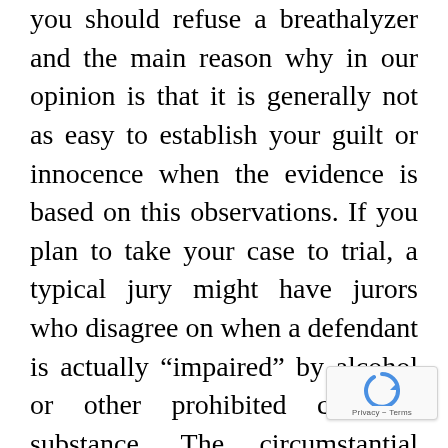you should refuse a breathalyzer and the main reason why in our opinion is that it is generally not as easy to establish your guilt or innocence when the evidence is based on this observations. If you plan to take your case to trial, a typical jury might have jurors who disagree on when a defendant is actually “impaired” by alcohol or other prohibited chemical substance. The circumstantial evidence may not be enough without the breathalyzer test results. Without a more scientific breathalyzer measurement, it can be difficult to convict and this may work in your favor when either working out a deal with the State or otherwise defending your innocence at trial.
That being said, there is no hard and fast rule